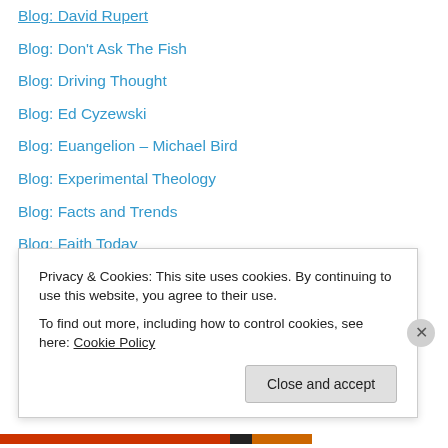Blog: David Rupert
Blog: Don't Ask The Fish
Blog: Driving Thought
Blog: Ed Cyzewski
Blog: Euangelion – Michael Bird
Blog: Experimental Theology
Blog: Facts and Trends
Blog: Faith Today
Blog: Glenn Kaiser
Blog: Good Question
Blog: Greg Boyd
Blog: Heart Language
Blog: Holy Spirit Activism
Blog: Internet Monk
Privacy & Cookies: This site uses cookies. By continuing to use this website, you agree to their use. To find out more, including how to control cookies, see here: Cookie Policy
Close and accept